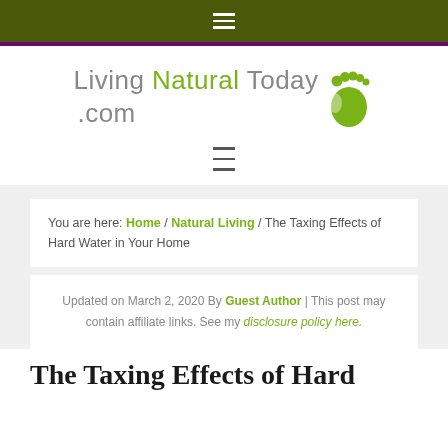≡ (hamburger menu, top navigation bar)
[Figure (logo): Living Natural Today .com logo with green footprint icon]
≡ (hamburger menu, secondary navigation)
You are here: Home / Natural Living / The Taxing Effects of Hard Water in Your Home
Updated on March 2, 2020 By Guest Author | This post may contain affiliate links. See my disclosure policy here.
The Taxing Effects of Hard